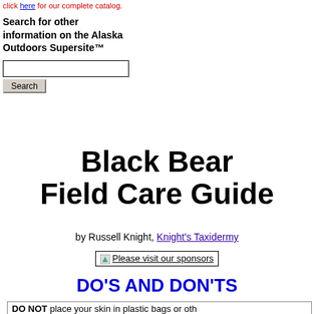click here for our complete catalog.
Search for other information on the Alaska Outdoors Supersite™
Black Bear Field Care Guide
by Russell Knight, Knight's Taxidermy
[Figure (other): Please visit our sponsors banner/image link]
DO'S AND DON'TS
DO NOT place your skin in plastic bags or oth…